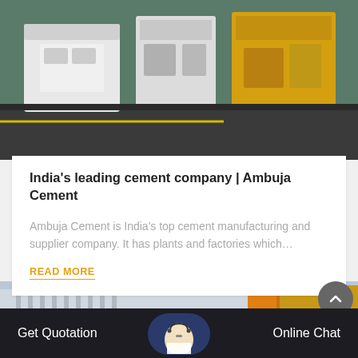[Figure (photo): Industrial factory floor with large white and yellow machinery equipment]
India's leading cement company | Ambuja Cement
Ambuja Cement is India's top cement manufacturing and supplier company. It has plants and factories which…
READ MORE
[Figure (photo): Cement factory exterior with industrial equipment, orange circular gears, and a customer service agent overlay]
Get Quotation   Online Chat